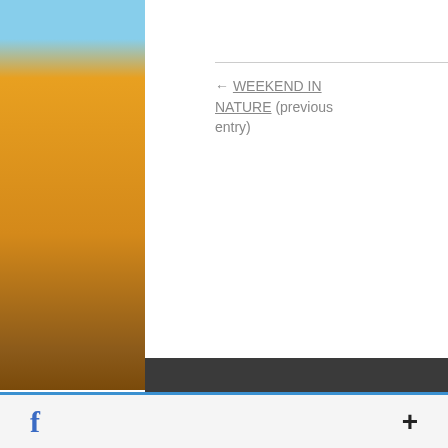← WEEKEND IN NATURE (previous entry)
(next entry) CANGAS DE PINCHOS 2012 →
INTERESTING LINKS
Besides are some interesting links for you! Enjoy your stay :)
PAGES
Welcome